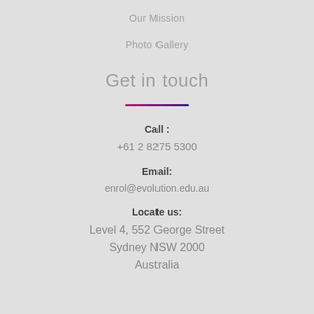Our Mission
Photo Gallery
Get in touch
Call :
+61 2 8275 5300
Email:
enrol@evolution.edu.au
Locate us:
Level 4, 552 George Street
Sydney NSW 2000
Australia